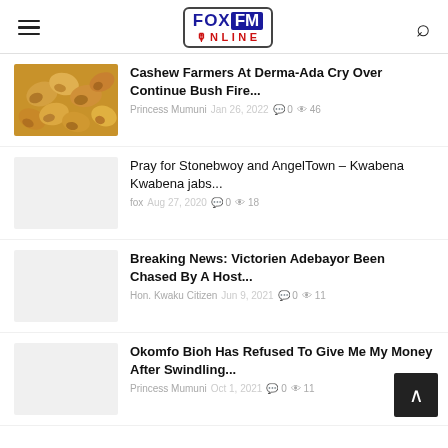FOX FM ONLINE
Cashew Farmers At Derma-Ada Cry Over Continue Bush Fire... Princess Mumuni Jan 26, 2022 0 46
Pray for Stonebwoy and AngelTown – Kwabena Kwabena jabs... fox Aug 27, 2020 0 18
Breaking News: Victorien Adebayor Been Chased By A Host... Hon. Kwaku Citizen Jun 9, 2021 0 11
Okomfo Bioh Has Refused To Give Me My Money After Swindling... Princess Mumuni Oct 1, 2021 0 11